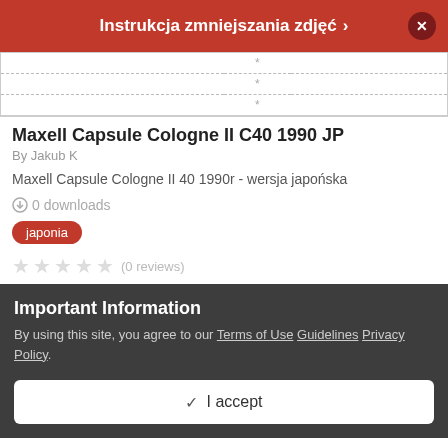Instrukcja zmniejszania zdjęć
|  | * |  |
|  | * |  |
|  | * |  |
Maxell Capsule Cologne II C40 1990 JP
By Jakub K
Maxell Capsule Cologne II 40 1990r - wersja japońska
0 downloads
japonia
(0 reviews)
Important Information
By using this site, you agree to our Terms of Use Guidelines Privacy Policy.
✓  I accept